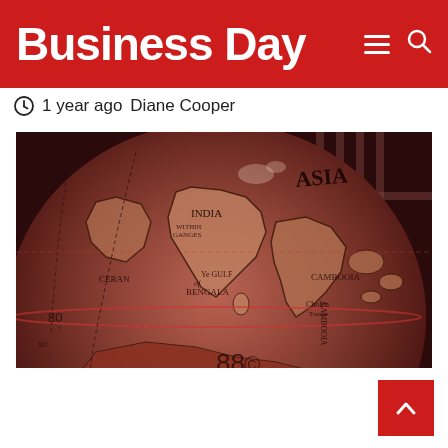Business Day
1 year ago  Diane Cooper
[Figure (photo): Close-up photograph of a large antique globe showing Asia region with handwritten-style map labels including ASIA, INDIA, CERAN, THE GULF OF BENGALA, CAMBOOIA, and other historical geographic names. The globe has a reddish-brown tint color scheme and is photographed indoors.]
[Figure (other): Scroll-to-top red button with white upward chevron arrow]